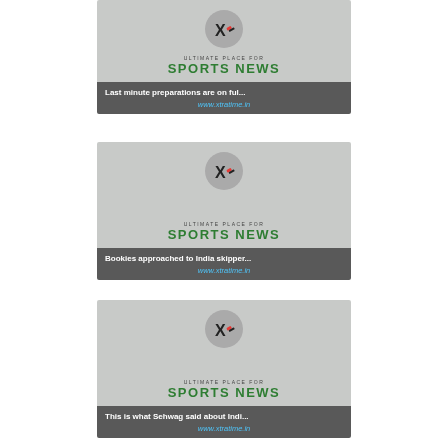[Figure (screenshot): Sports news card 1: ULTIMATE PLACE FOR SPORTS NEWS, headline: Last minute preparations are on ful..., www.xtratime.in]
[Figure (screenshot): Sports news card 2: ULTIMATE PLACE FOR SPORTS NEWS, headline: Bookies approached to India skipper..., www.xtratime.in]
[Figure (screenshot): Sports news card 3: ULTIMATE PLACE FOR SPORTS NEWS, headline: This is what Sehwag said about Indi..., www.xtratime.in]